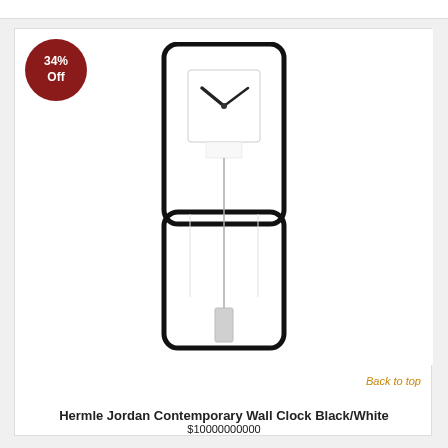[Figure (photo): Hermle Jordan Contemporary Wall Clock Black/White - a modern minimalist pendulum wall clock with a black rectangular open frame and white square clock face with black hands, long pendulum rod with silver bob]
34% Off
Back to top
Hermle Jordan Contemporary Wall Clock Black/White
$1,000.00000000